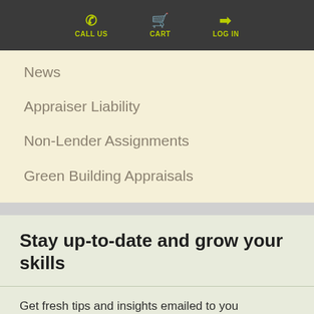CALL US | CART | LOG IN
News
Appraiser Liability
Non-Lender Assignments
Green Building Appraisals
Stay up-to-date and grow your skills
Get fresh tips and insights emailed to you
FIRST NAME